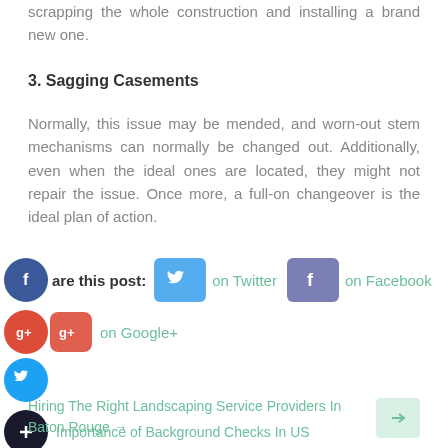scrapping the whole construction and installing a brand new one.
3. Sagging Casements
Normally, this issue may be mended, and worn-out stem mechanisms can normally be changed out. Additionally, even when the ideal ones are located, they might not repair the issue. Once more, a full-on changeover is the ideal plan of action.
Share this post:   on Twitter   on Facebook   on Google+
Importance of Background Checks In US
Hiring The Right Landscaping Service Providers In Baton Rouge →